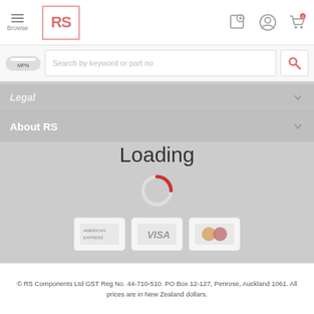RS Components - Browse / MPN search
Legal
About RS
Loading
Follow us on
© RS Components Ltd GST Reg No. 44-710-510. PO Box 12-127, Penrose, Auckland 1061. All prices are in New Zealand dollars.